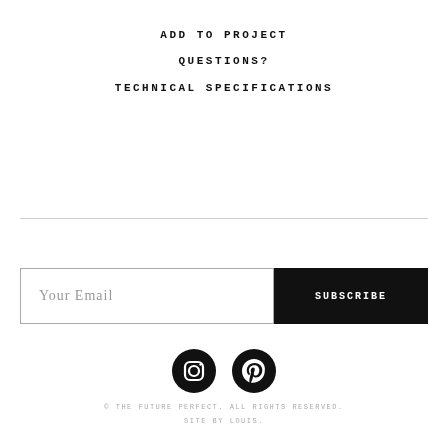ADD TO PROJECT
QUESTIONS?
TECHNICAL SPECIFICATIONS
Your Email
SUBSCRIBE
[Figure (illustration): Instagram and Pinterest social media icons in black circles]
© THE FUTURE PERFECT. ALL RIGHTS RESERVED. SITE BY LOUIS.